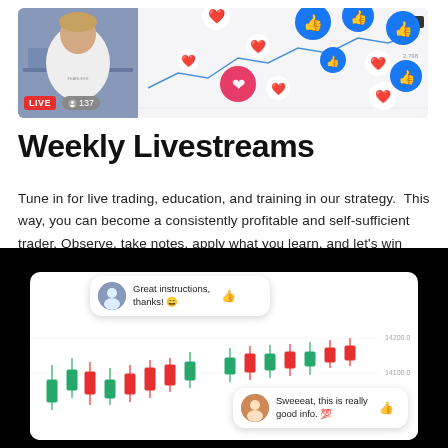[Figure (screenshot): Facebook/Instagram live stream screenshot showing a person in a white hoodie with trading chart in background, LIVE badge and 137 viewers, floating heart and thumbs-up reaction emojis]
Weekly Livestreams
Tune in for live trading, education, and training in our strategy.  This way, you can become a consistently profitable and self-sufficient trader. Observe, take notes, apply what you learn, and let's win together.
[Figure (screenshot): Trading chart screenshot showing candlestick chart with two comment bubbles: 'Great instructions, thanks! 😄' and 'Sweeeat, this is really good info. 💯', with price levels 14200.0 and 14100.0 visible]